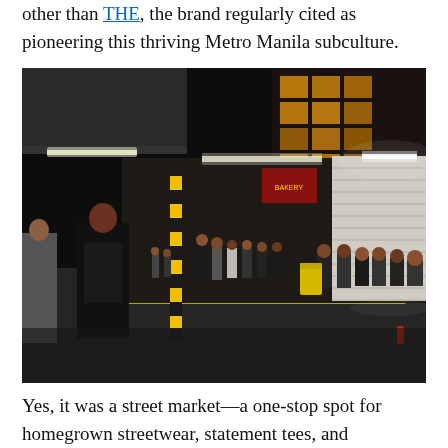other than THE, the brand regularly cited as pioneering this thriving Metro Manila subculture.
[Figure (photo): Night scene of a street market or bazaar. People stand and sit along a covered walkway next to shops. Fluorescent lights illuminate the scene. A black and yellow striped bollard is visible in the foreground. Groups of young people are gathered along the right side of the street.]
Yes, it was a street market—a one-stop spot for homegrown streetwear, statement tees, and accessories. But seeing how the vendors...